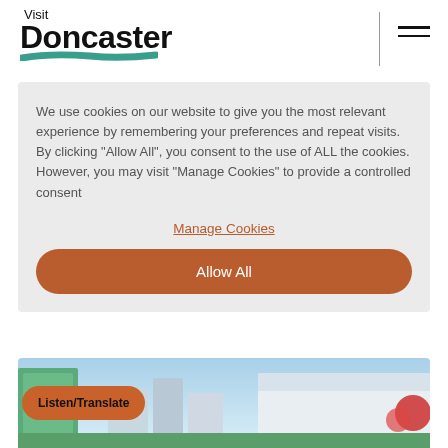[Figure (logo): Visit Doncaster logo with teal brush stroke underline]
We use cookies on our website to give you the most relevant experience by remembering your preferences and repeat visits. By clicking “Allow All”, you consent to the use of ALL the cookies. However, you may visit "Manage Cookies" to provide a controlled consent
Manage Cookies
Allow All
[Figure (photo): Partial view of a city scene with buildings and stands, possibly Doncaster Racecourse]
Listen/Translate